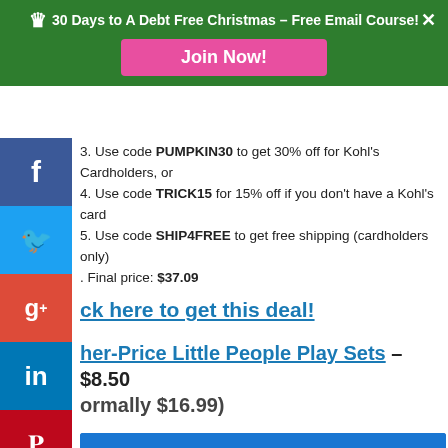30 Days to A Debt Free Christmas – Free Email Course! Join Now!
3. Use code PUMPKIN30 to get 30% off for Kohl's Cardholders, or
4. Use code TRICK15 for 15% off if you don't have a Kohl's card
5. Use code SHIP4FREE to get free shipping (cardholders only)
. Final price: $37.09
ck here to get this deal!
her-Price Little People Play Sets – $8.50
ormally $16.99)
[Figure (photo): Fisher-Price Little People Play Sets product box, blue packaging with yellow toy visible]